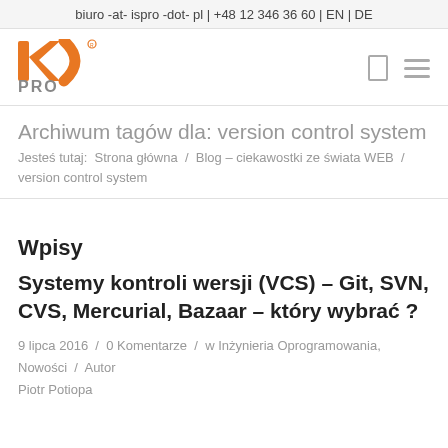biuro -at- ispro -dot- pl | +48 12 346 36 60 | EN | DE
[Figure (logo): ISPRO orange logo with PRO text below]
Archiwum tagów dla: version control system
Jesteś tutaj:  Strona główna  /  Blog – ciekawostki ze świata WEB  /  version control system
Wpisy
Systemy kontroli wersji (VCS) – Git, SVN, CVS, Mercurial, Bazaar – który wybrać ?
9 lipca 2016  /  0 Komentarze  /  w Inżynieria Oprogramowania, Nowości  /  Autor   Piotr Potiopa